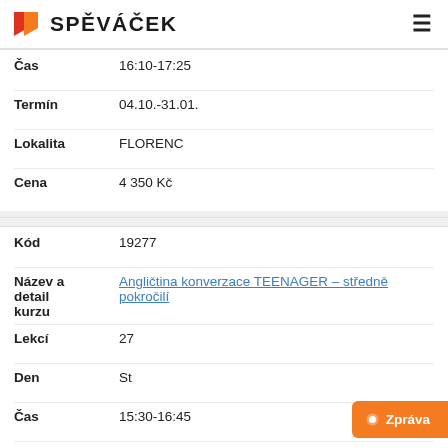SPĚVÁČEK
| Label | Value |
| --- | --- |
| Čas | 16:10-17:25 |
| Termín | 04.10.-31.01. |
| Lokalita | FLORENC |
| Cena | 4 350 Kč |
| Label | Value |
| --- | --- |
| Kód | 19277 |
| Název a detail kurzu | Angličtina konverzace TEENAGER – středně pokročilí |
| Lekcí | 27 |
| Den | St |
| Čas | 15:30-16:45 |
| Termín | 05.10.-01.02. |
| Lokalita | BUDĚJOVICKÁ |
| Cena | 4 350 Kč |
| Label | Value |
| --- | --- |
| Kód | 19499 |